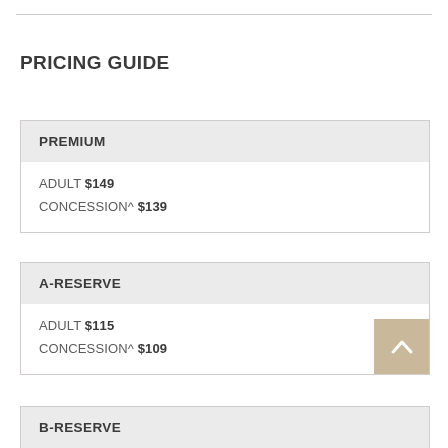PRICING GUIDE
| PREMIUM |  |
| --- | --- |
| ADULT | $149 |
| CONCESSION^ | $139 |
| A-RESERVE |  |
| --- | --- |
| ADULT | $115 |
| CONCESSION^ | $109 |
| B-RESERVE |  |
| --- | --- |